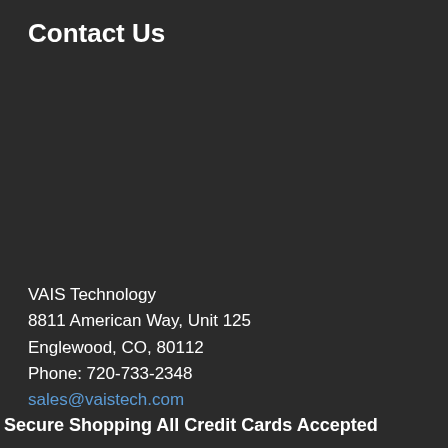Contact Us
VAIS Technology
8811 American Way, Unit 125
Englewood, CO, 80112
Phone: 720-733-2348
sales@vaistech.com
Secure Shopping All Credit Cards Accepted